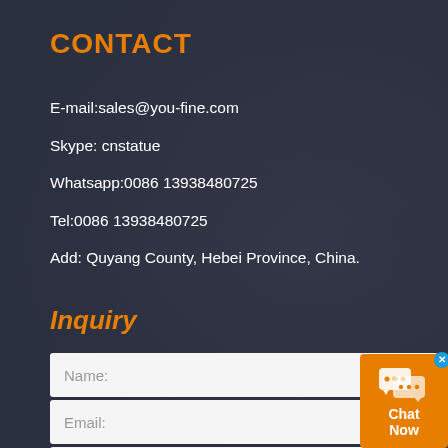CONTACT
E-mail:sales@you-fine.com
Skype: cnstatue
Whatsapp:0086 13938480725
Tel:0086 13938480725
Add: Quyang County, Hebei Province, China.
Inquiry
Name:
Email:
Message:
[Figure (other): Chat Now widget button with speech bubble icon, orange background, blue close X button]